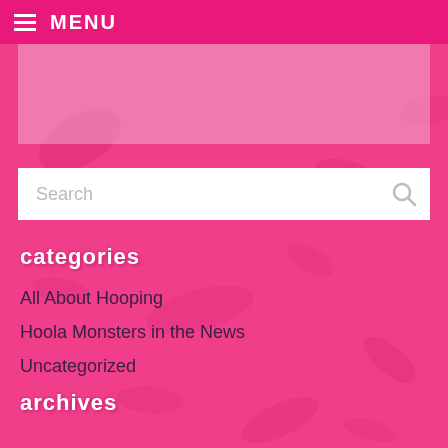MENU
[Figure (illustration): Pink textured banner image area at top of page]
categories
All About Hooping
Hoola Monsters in the News
Uncategorized
archives
February 2021
March 2020